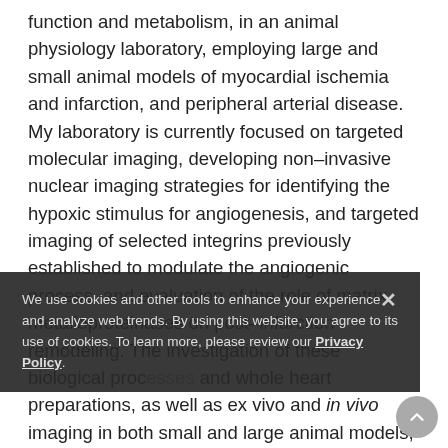function and metabolism, in an animal physiology laboratory, employing large and small animal models of myocardial ischemia and infarction, and peripheral arterial disease. My laboratory is currently focused on targeted molecular imaging, developing non–invasive nuclear imaging strategies for identifying the hypoxic stimulus for angiogenesis, and targeted imaging of selected integrins previously established to modulate the angiogenic process, and evaluation of the role of matrix metalloproteinases on post–infarction remodeling. The investigation of these biological processes and whole heart preparations, as well as ex vivo and in vivo imaging in both small and large animal models, using dedicated high–resolution and real–time
We use cookies and other tools to enhance your experience and analyze web trends. By using this website, you agree to its use of cookies. To learn more, please review our Privacy Policy.